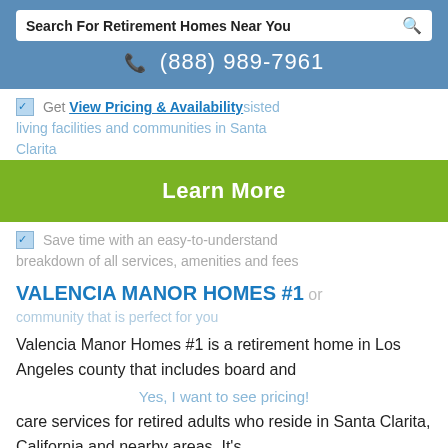[Figure (screenshot): Search bar with text 'Search For Retirement Homes Near You' and magnifier icon]
(888) 989-7961
Get View Pricing & Availability assisted living facilities and communities in Santa Clarita
[Figure (other): Green 'Learn More' button]
Save time with an easy-to-understand breakdown of all services, amenities and fees
VALENCIA MANOR HOMES #1
community that is perfect for you
Valencia Manor Homes #1 is a retirement home in Los Angeles county that includes board and care services for retired adults who reside in Santa Clarita, California and nearby areas. It's located in the 91355 zip code area at 23946 Columbia Court and offers amenities such as